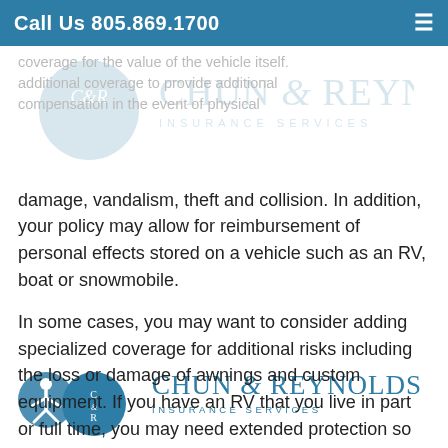Call Us 805.869.1700
[Figure (logo): Chun & Reynolds Insurance Services logo watermark overlaid on the page header area]
coverage for the value of the vehicle itself. additional coverage to provide additional compensation in the event of physical damage, vandalism, theft and collision. In addition, your policy may allow for reimbursement of personal effects stored on a vehicle such as an RV, boat or snowmobile.
In some cases, you may want to consider adding specialized coverage for additional risks including the loss or damage of awnings and custom equipment. If you have an RV that you live in part or full time, you may need extended protection so be sure to discuss that with your agent.
[Figure (logo): Chun & Reynolds Insurance Services logo at the bottom of the page with accessibility icon and two overlapping blue circles with C&R monogram]